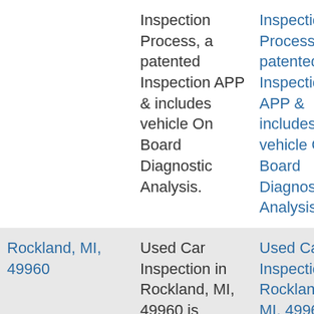|  | Inspection Process, a patented Inspection APP & includes vehicle On Board Diagnostic Analysis. | Inspection Process, a patented Inspection APP & includes vehicle On Board Diagnostic Analysis. |
| Rockland, MI, 49960 | Used Car Inspection in Rockland, MI, 49960 is performed by professional Vehicle | Used Car Inspection in Rockland, MI, 49960 is performed by professional Vehicle |